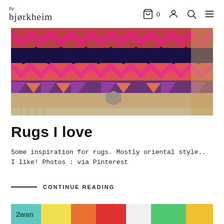by bjørkheim
[Figure (photo): Close-up photo of a colorful kilim/oriental rug with geometric zigzag patterns in red, pink, navy, purple, and beige with fringe]
Rugs I love
Some inspiration for rugs. Mostly oriental style.. I like! Photos : via Pinterest
CONTINUE READING
[Figure (photo): Partial view of colorful items, partially visible at bottom of page]